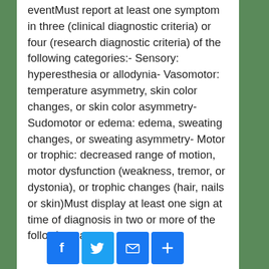eventMust report at least one symptom in three (clinical diagnostic criteria) or four (research diagnostic criteria) of the following categories:- Sensory: hyperesthesia or allodynia- Vasomotor: temperature asymmetry, skin color changes, or skin color asymmetry- Sudomotor or edema: edema, sweating changes, or sweating asymmetry- Motor or trophic: decreased range of motion, motor dysfunction (weakness, tremor, or dystonia), or trophic changes (hair, nails or skin)Must display at least one sign at time of diagnosis in two or more of the following categories: